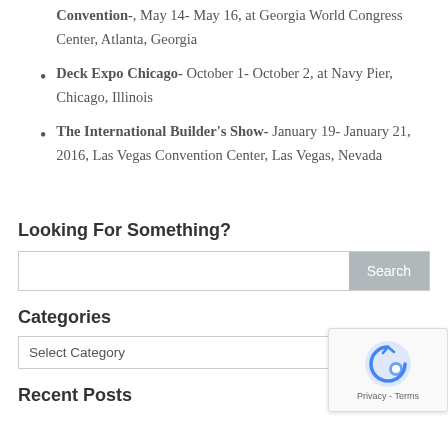Convention-, May 14- May 16, at Georgia World Congress Center, Atlanta, Georgia
Deck Expo Chicago- October 1- October 2, at Navy Pier, Chicago, Illinois
The International Builder's Show- January 19- January 21, 2016, Las Vegas Convention Center, Las Vegas, Nevada
Looking For Something?
Categories
Recent Posts